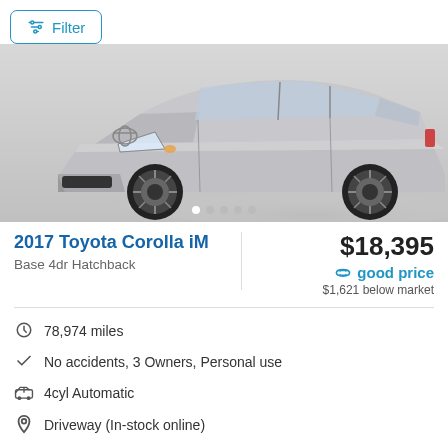Filter
[Figure (photo): Silver 2017 Toyota Corolla iM hatchback, front 3/4 view, with image carousel dots below]
2017 Toyota Corolla iM
Base 4dr Hatchback
$18,395
good price
$1,621 below market
78,974 miles
No accidents, 3 Owners, Personal use
4cyl Automatic
Driveway (In-stock online)